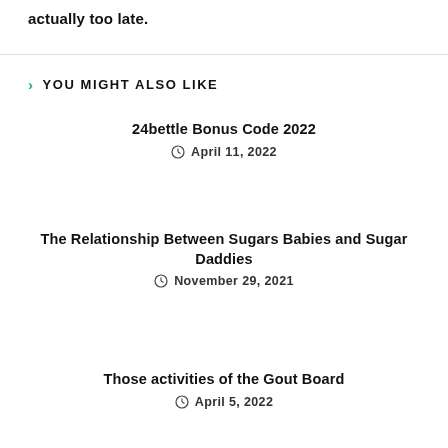actually too late.
YOU MIGHT ALSO LIKE
24bettle Bonus Code 2022
April 11, 2022
The Relationship Between Sugars Babies and Sugar Daddies
November 29, 2021
Those activities of the Gout Board
April 5, 2022